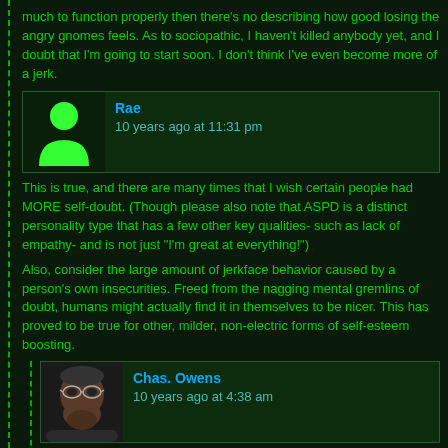much to function properly then there's no describing how good losing the angry gnomes feels. As to sociopathic, I haven't killed anybody yet, and I doubt that I'm going to start soon. I don't think I've even become more of a jerk.
[Figure (other): Comment block with green avatar silhouette icon for user Rae, timestamp 10 years ago at 11:31 pm]
Rae
10 years ago at 11:31 pm
This is true, and there are many times that I wish certain people had MORE self-doubt. (Though please also note that ASPD is a distinct personality type that has a few other key qualities- such as lack of empathy- and is not just "I'm great at everything!")
Also, consider the large amount of jerkface behavior caused by a person's own insecurities. Freed from the nagging mental gremlins of doubt, humans might actually find it in themselves to be nicer. This has proved to be true for other, milder, non-electric forms of self-esteem boosting.
[Figure (photo): Comment block with photo of bearded man with glasses for user Chas. Owens, timestamp 10 years ago at 4:38 am]
Chas. Owens
10 years ago at 4:38 am
I don't think "I'm great at everything" is a good description for losing the angry head gnomes. Based on what the article says